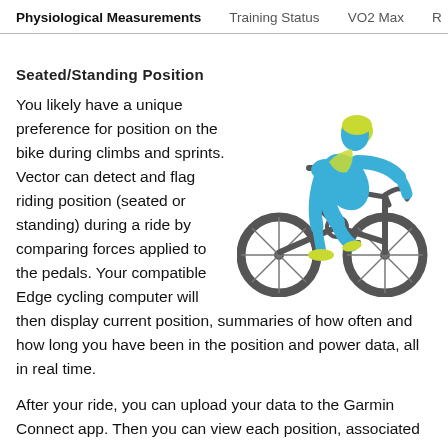Physiological Measurements   Training Status   VO2 Max   R
Seated/Standing Position
You likely have a unique preference for position on the bike during climbs and sprints. Vector can detect and flag riding position (seated or standing) during a ride by comparing forces applied to the pedals. Your compatible Edge cycling computer will then display current position, summaries of how often and how long you have been in the position and power data, all in real time.
[Figure (illustration): Illustration of a cyclist in a riding position on a road bike. The rider's body is depicted in blue and the helmet/shoes in yellow-green. The bicycle frame is dark gray/charcoal.]
After your ride, you can upload your data to the Garmin Connect app. Then you can view each position, associated